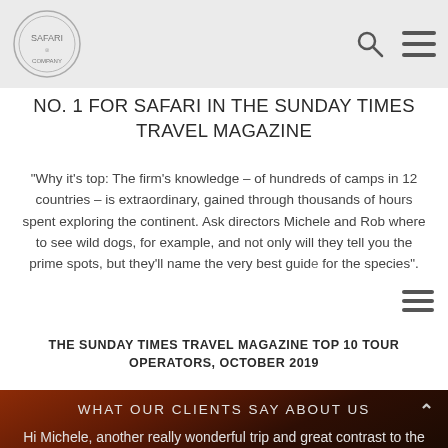[Figure (logo): Safari company circular logo with animal motif in top left header area]
NO. 1 FOR SAFARI IN THE SUNDAY TIMES TRAVEL MAGAZINE
“Why it’s top: The firm’s knowledge – of hundreds of camps in 12 countries – is extraordinary, gained through thousands of hours spent exploring the continent. Ask directors Michele and Rob where to see wild dogs, for example, and not only will they tell you the prime spots, but they’ll name the very best guide for the species”.
THE SUNDAY TIMES TRAVEL MAGAZINE TOP 10 TOUR OPERATORS, OCTOBER 2019
WHAT OUR CLIENTS SAY ABOUT US
Hi Michele, another really wonderful trip and great contrast to the Pangolin one. Much more classic sightings, but the quality of the sighting